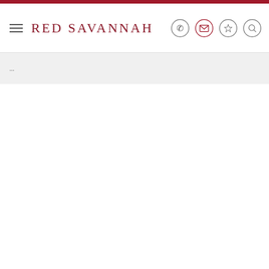[Figure (logo): Red Savannah logo with navigation bar including hamburger menu, phone, email, star/favourites, and search icons]
...